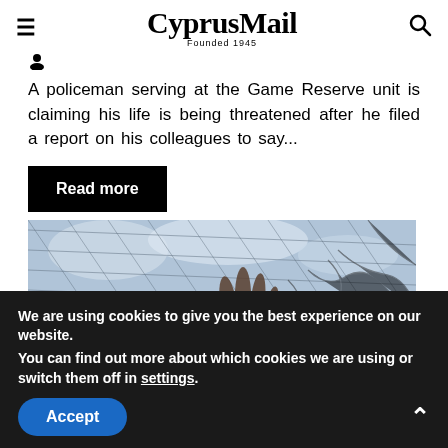CyprusMail — Founded 1945
A policeman serving at the Game Reserve unit is claiming his life is being threatened after he filed a report on his colleagues to say...
Read more
[Figure (photo): A hand reaching through a net or wire mesh against a sky background]
We are using cookies to give you the best experience on our website.
You can find out more about which cookies we are using or switch them off in settings.
Accept